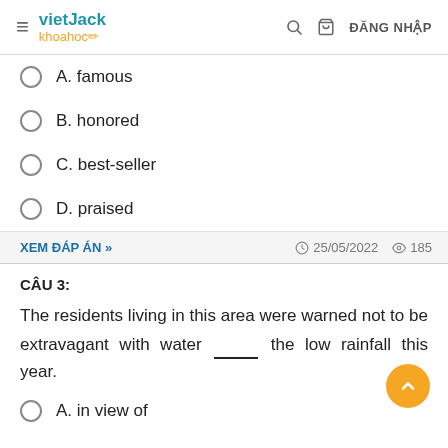vietJack khoahoc / ĐĂNG NHẬP
A. famous
B. honored
C. best-seller
D. praised
XEM ĐÁP ÁN »    25/05/2022    185
CÂU 3:
The residents living in this area were warned not to be extravagant with water _____ the low rainfall this year.
A. in view of